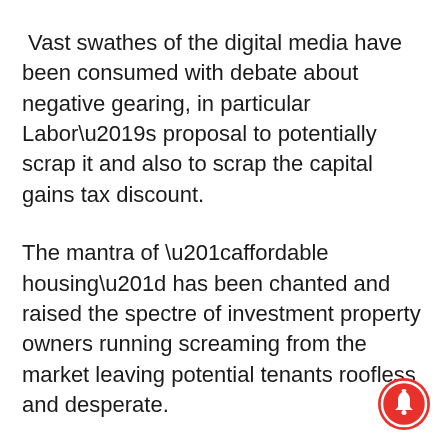Vast swathes of the digital media have been consumed with debate about negative gearing, in particular Labor’s proposal to potentially scrap it and also to scrap the capital gains tax discount.
The mantra of “affordable housing” has been chanted and raised the spectre of investment property owners running screaming from the market leaving potential tenants roofless and desperate.
[Figure (illustration): Red circular notification bell button in the bottom-right corner]